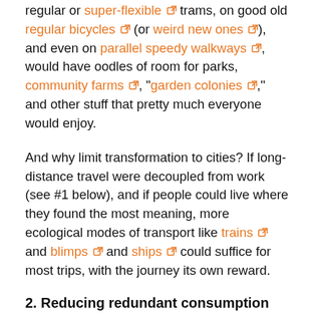cities in which people and goods get around in regular or super-flexible trams, on good old regular bicycles (or weird new ones), and even on parallel speedy walkways, would have oodles of room for parks, community farms, "garden colonies," and other stuff that pretty much everyone would enjoy.
And why limit transformation to cities? If long-distance travel were decoupled from work (see #1 below), and if people could live where they found the most meaning, more ecological modes of transport like trains and blimps and ships could suffice for most trips, with the journey its own reward.
2. Reducing redundant consumption
Not all changes need to be sweeping. One tiny tweak